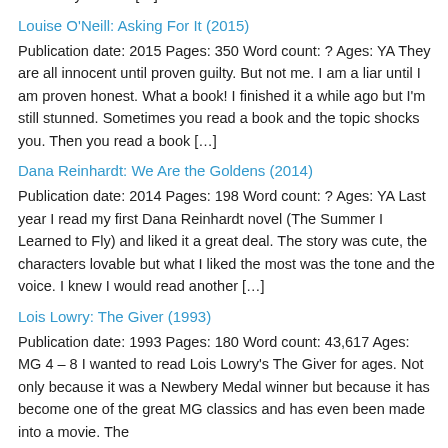read any. I'm writing for adults, children and Young Adults and in one of my writer's […]
Louise O'Neill: Asking For It (2015)
Publication date: 2015 Pages: 350 Word count: ? Ages: YA They are all innocent until proven guilty. But not me. I am a liar until I am proven honest. What a book! I finished it a while ago but I'm still stunned. Sometimes you read a book and the topic shocks you. Then you read a book […]
Dana Reinhardt: We Are the Goldens (2014)
Publication date: 2014 Pages: 198 Word count: ? Ages: YA Last year I read my first Dana Reinhardt novel (The Summer I Learned to Fly) and liked it a great deal. The story was cute, the characters lovable but what I liked the most was the tone and the voice. I knew I would read another […]
Lois Lowry: The Giver (1993)
Publication date: 1993 Pages: 180 Word count: 43,617 Ages: MG 4 – 8 I wanted to read Lois Lowry's The Giver for ages. Not only because it was a Newbery Medal winner but because it has become one of the great MG classics and has even been made into a movie. The